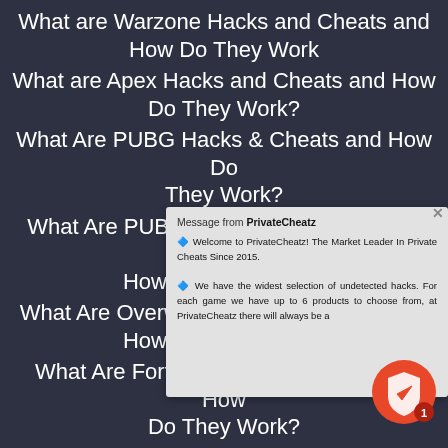What are Warzone Hacks and Cheats and How Do They Work
What are Apex Hacks and Cheats and How Do They Work?
What Are PUBG Hacks & Cheats and How Do They Work?
What Are PUBG Mobile Hacks & Cheats and How Do They Work?
What Are Overwatch Hacks & Cheats and How Do They Work?
What Are Fortnite Hacks & Cheats and How Do They Work?
What Are EFT Hacks & Cheats and How Do They Work?
What Are 2042 Hacks & Cheats and How Do They Work?
What Are Rust Hacks & Cheats and How Do They Work?
[Figure (screenshot): Popup dialog from PrivateCheatz website saying: Message from PrivateCheatz. Welcome to PrivateCheatz! The Market Leader In Private Cheats Since 2015. We have the widest selection of undetected hacks. For each game we have up to 6 products to choose from, at PrivateCheatz there will always be a...]
[Figure (infographic): Red circular notification badge with white shield/play icon and red number badge showing '1']